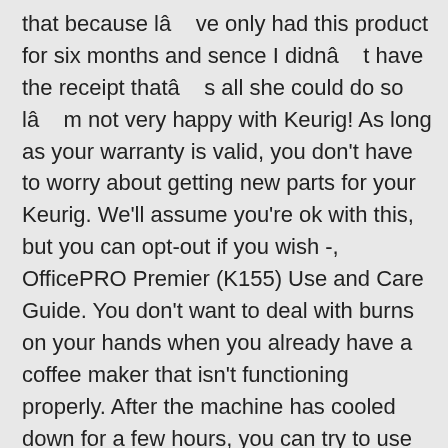that because lâ ve only had this product for six months and sence I didnâ t have the receipt thatâ s all she could do so lâ m not very happy with Keurig! As long as your warranty is valid, you don't have to worry about getting new parts for your Keurig. We'll assume you're ok with this, but you can opt-out if you wish -, OfficePRO Premier (K155) Use and Care Guide. You don't want to deal with burns on your hands when you already have a coffee maker that isn't functioning properly. After the machine has cooled down for a few hours, you can try to use something like a straw or similar to suck or blow out the debris in the nozzle. Can I adjust the brew temperature of my beverage? I gifted a new unit at Christmas and took their old one. If not placed